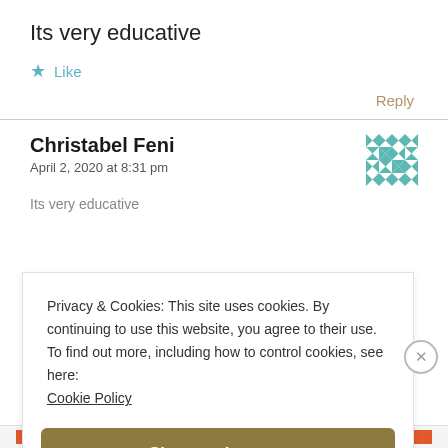Its very educative
★ Like
Reply
Christabel Feni
April 2, 2020 at 8:31 pm
[Figure (illustration): Teal/white geometric quilt-pattern avatar icon for user Christabel Feni]
Privacy & Cookies: This site uses cookies. By continuing to use this website, you agree to their use.
To find out more, including how to control cookies, see here:
Cookie Policy
Close and accept